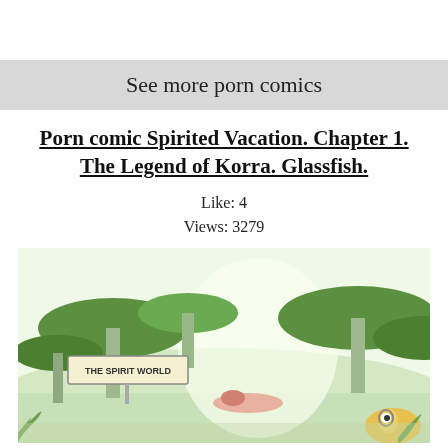See more porn comics
Porn comic Spirited Vacation. Chapter 1. The Legend of Korra. Glassfish.
Like: 4
Views: 3279
[Figure (illustration): Comic panel showing a fantasy spirit world scene with large mushroom-like plants in green tones, a sign reading 'THE SPIRIT WORLD', a prone figure in the middle ground, and a cartoon fish character in the bottom right corner.]